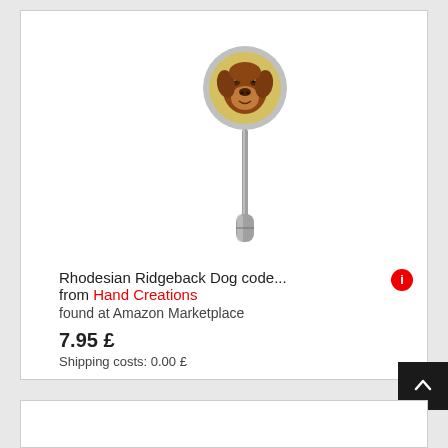[Figure (photo): A Rhodesian Ridgeback dog lapel pin/stick pin with a circular medallion showing a dog portrait on a yellow background, attached to a metal pin with a cylindrical clasp at the bottom.]
Rhodesian Ridgeback Dog code... from Hand Creations
found at Amazon Marketplace
7.95 £
Shipping costs: 0.00 £